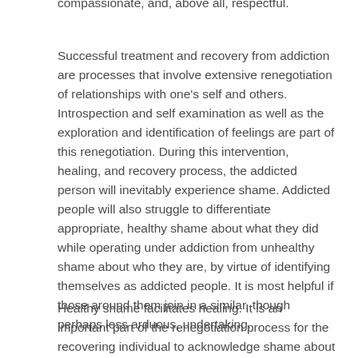compassionate, and, above all, respectful.
Successful treatment and recovery from addiction are processes that involve extensive renegotiation of relationships with one's self and others. Introspection and self examination as well as the exploration and identification of feelings are part of this renegotiation. During this intervention, healing, and recovery process, the addicted person will inevitably experience shame. Addicted people will also struggle to differentiate appropriate, healthy shame about what they did while operating under addiction from unhealthy shame about who they are, by virtue of identifying themselves as addicted people. It is most helpful if those around them join in a similar, though perhaps less arduous, undertaking.
Healthy shame facilitates healing. It is an important part of the renegotiation process for the recovering individual to acknowledge shame about personal wrongdoing within the context